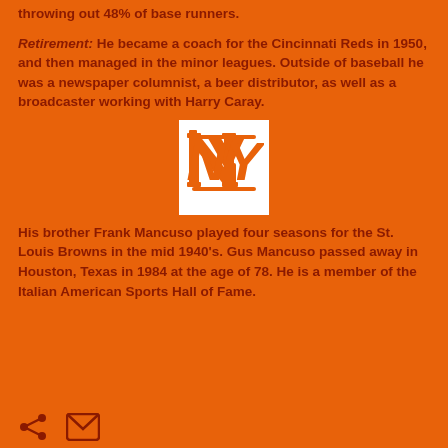throwing out 48% of base runners.
Retirement: He became a coach for the Cincinnati Reds in 1950, and then managed in the minor leagues. Outside of baseball he was a newspaper columnist, a beer distributor, as well as a broadcaster working with Harry Caray.
[Figure (logo): New York Mets NY interlocking logo in orange on white background]
His brother Frank Mancuso played four seasons for the St. Louis Browns in the mid 1940's. Gus Mancuso passed away in Houston, Texas in 1984 at the age of 78. He is a member of the Italian American Sports Hall of Fame.